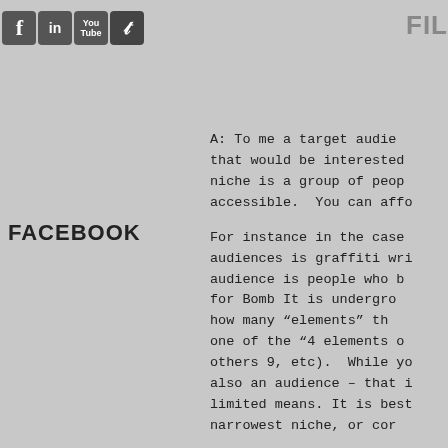Social media icons: Facebook, LinkedIn, YouTube, Twitter | FIL
FACEBOOK
A: To me a target audie that would be interested niche is a group of peop accessible. You can affo
For instance in the case audiences is graffiti wri audience is people who b for Bomb It is undergro how many "elements" th one of the "4 elements o others 9, etc). While yo also an audience – that i limited means. It is best narrowest niche, or cor
This process takes time